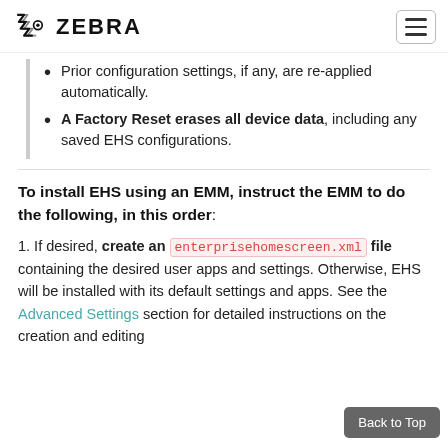ZEBRA
Prior configuration settings, if any, are re-applied automatically.
A Factory Reset erases all device data, including any saved EHS configurations.
To install EHS using an EMM, instruct the EMM to do the following, in this order:
1. If desired, create an enterprisehomescreen.xml file containing the desired user apps and settings. Otherwise, EHS will be installed with its default settings and apps. See the Advanced Settings section for detailed instructions on the creation and editing of config files.